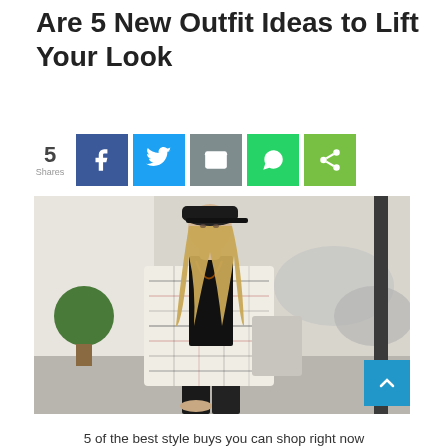Are 5 New Outfit Ideas to Lift Your Look
[Figure (infographic): Social share bar with 5 shares count, Facebook (blue), Twitter (light blue), Email (grey), WhatsApp (green), Share (green) buttons]
[Figure (photo): Street style photo of a blonde woman wearing a black turtleneck, patterned ethnic/Aztec print coat, black leather pants, and a black leather cap, walking on a city street]
5 of the best style buys you can shop right now